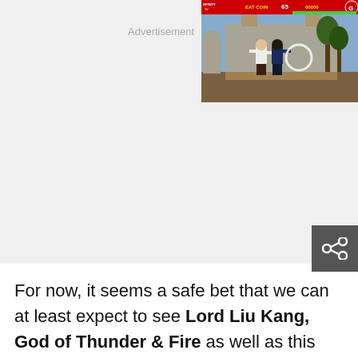[Figure (screenshot): Mortal Kombat video game screenshot showing two fighters in combat on a courtyard stage, with HUD elements showing health bars, coin count, and score at the top. A small GFINITY TV logo is visible in the top left of the screenshot. A share icon button (three connected circles) is overlaid at the bottom right of the ad area.]
For now, it seems a safe bet that we can at least expect to see Lord Liu Kang, God of Thunder & Fire as well as this young untrained Kung Lao.